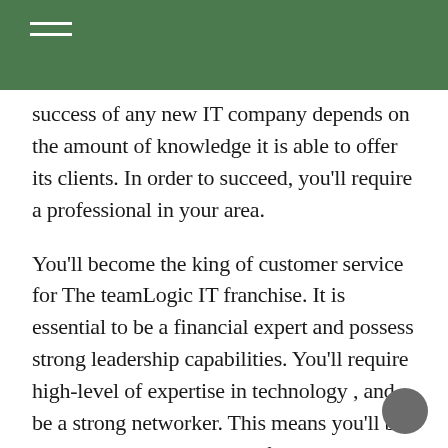success of any new IT company depends on the amount of knowledge it is able to offer its clients. In order to succeed, you'll require a professional in your area.
You'll become the king of customer service for The teamLogic IT franchise. It is essential to be a financial expert and possess strong leadership capabilities. You'll require high-level of expertise in technology , and be a strong networker. This means you'll be able to network with other franchise owners from the same industry and offer their expertise and advice. You'll also get to know a number of people from your community that are